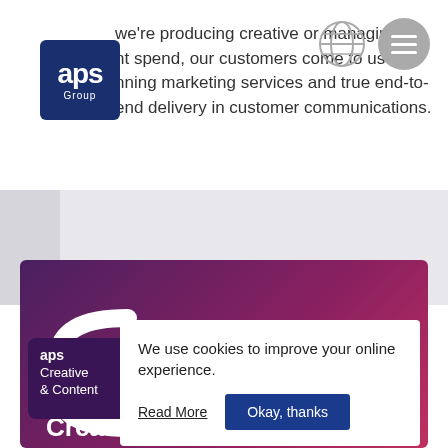[Figure (logo): APS Group logo — dark blue square with rounded corners, white text 'aps' large and 'Group' smaller below]
we're producing creative or managing an nt spend, our customers come to us for nning marketing services and true end-to-end delivery in customer communications.
[Figure (screenshot): Cookie consent popup overlay on APS Creative & Content website page showing purple gradient background with APS Creative & Content logo card. Cookie notice reads: 'We use cookies to improve your online experience.' with 'Read More' link and 'Okay, thanks' button. Bottom shows 'Creative &' text in white.]